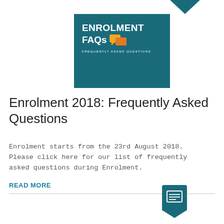[Figure (illustration): Teal square banner with white bold text reading 'ENROLMENT FAQs' and chat bubble icons in yellow and orange, subtitle 'FREQUENTLY ASKED QUESTIONS' in white uppercase letters, plus a teal downward chevron arrow at top right]
Enrolment 2018: Frequently Asked Questions
Enrolment starts from the 23rd August 2018. Please click here for our list of frequently asked questions during Enrolment.
READ MORE
[Figure (logo): Teal shield/badge icon with a newspaper/document symbol inside, positioned at bottom right]